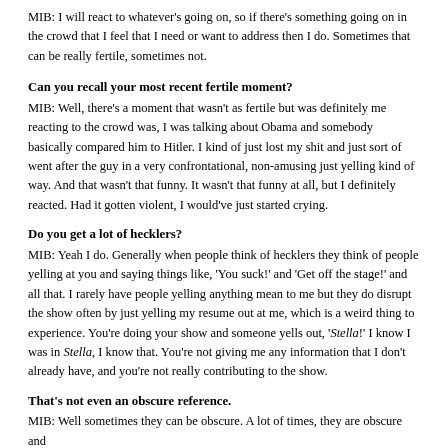MIB: I will react to whatever's going on, so if there's something going on in the crowd that I feel that I need or want to address then I do. Sometimes that can be really fertile, sometimes not.
Can you recall your most recent fertile moment?
MIB: Well, there's a moment that wasn't as fertile but was definitely me reacting to the crowd was, I was talking about Obama and somebody basically compared him to Hitler. I kind of just lost my shit and just sort of went after the guy in a very confrontational, non-amusing just yelling kind of way. And that wasn't that funny. It wasn't that funny at all, but I definitely reacted. Had it gotten violent, I would've just started crying.
Do you get a lot of hecklers?
MIB: Yeah I do. Generally when people think of hecklers they think of people yelling at you and saying things like, 'You suck!' and 'Get off the stage!' and all that. I rarely have people yelling anything mean to me but they do disrupt the show often by just yelling my resume out at me, which is a weird thing to experience. You're doing your show and someone yells out, 'Stella!' I know I was in Stella, I know that. You're not giving me any information that I don't already have, and you're not really contributing to the show.
That's not even an obscure reference.
MIB: Well sometimes they can be obscure. A lot of times, they are obscure and